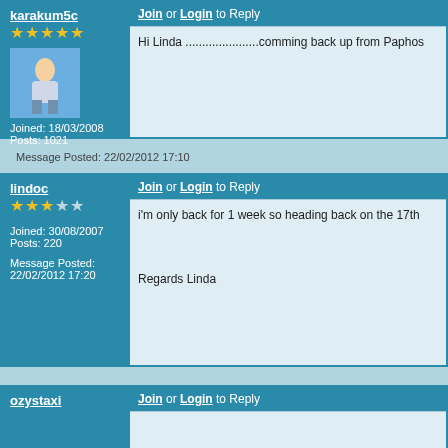karakum5c
Joined: 18/03/2008
Posts: 1021
Message Posted: 22/02/2012 17:10
Join or Login to Reply
Hi Linda ......................comming back up from Paphos
lindoc
Joined: 30/08/2007
Posts: 220
Message Posted: 22/02/2012 17:20
Join or Login to Reply
i'm only back for 1 week so heading back on the 17th
Regards Linda
ozystaxi
Join or Login to Reply